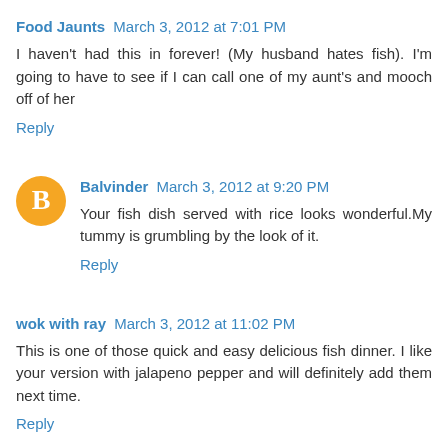Food Jaunts  March 3, 2012 at 7:01 PM
I haven't had this in forever! (My husband hates fish). I'm going to have to see if I can call one of my aunt's and mooch off of her
Reply
Balvinder  March 3, 2012 at 9:20 PM
Your fish dish served with rice looks wonderful.My tummy is grumbling by the look of it.
Reply
wok with ray  March 3, 2012 at 11:02 PM
This is one of those quick and easy delicious fish dinner. I like your version with jalapeno pepper and will definitely add them next time.
Reply